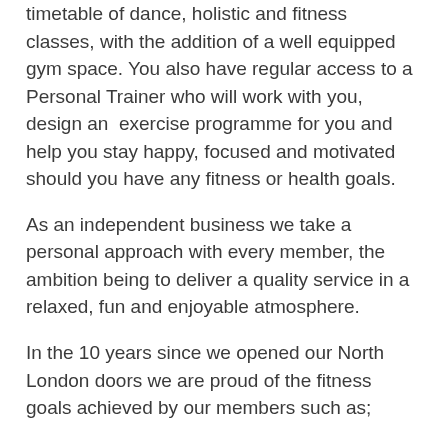timetable of dance, holistic and fitness classes, with the addition of a well equipped gym space. You also have regular access to a Personal Trainer who will work with you, design an  exercise programme for you and help you stay happy, focused and motivated should you have any fitness or health goals.
As an independent business we take a personal approach with every member, the ambition being to deliver a quality service in a relaxed, fun and enjoyable atmosphere.
In the 10 years since we opened our North London doors we are proud of the fitness goals achieved by our members such as;
losing 15 stone,
climbing Kilimanjaro,
running a marathon,
completing an Ironman,